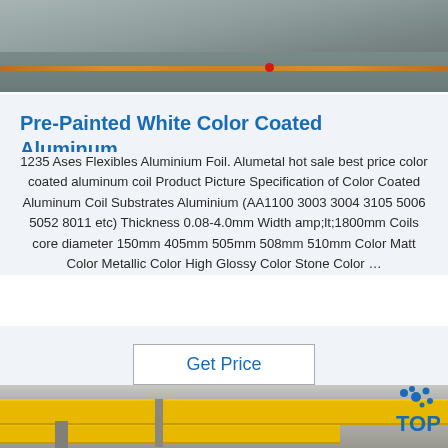[Figure (photo): Aerial or ground-level photo showing orange/copper rope or cable lines laid across a grey surface, possibly an industrial or construction site.]
Pre-Painted White Color Coated Aluminum...
1235 Ases Flexibles Aluminium Foil. Alumetal hot sale best price color coated aluminum coil Product Picture Specification of Color Coated Aluminum Coil Substrates Aluminium (AA1100 3003 3004 3105 5006 5052 8011 etc) Thickness 0.08-4.0mm Width amp;lt;1800mm Coils core diameter 150mm 405mm 505mm 508mm 510mm Color Matt Color Metallic Color High Glossy Color Stone Color …
[Figure (photo): Interior of an industrial building showing yellow overhead cranes/bridge cranes mounted on tracks near the ceiling, with metal pillars and a bright industrial workspace. A 'TOP' logo with blue dots is visible in the upper right corner.]